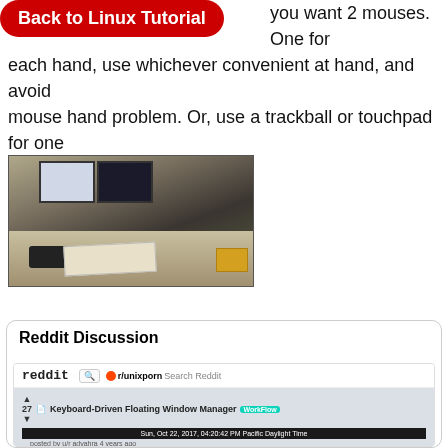you want 2 mouses. One for each hand, use whichever convenient at hand, and avoid mouse hand problem. Or, use a trackball or touchpad for one of them.
[Figure (photo): Photo of a computer desk setup with two monitors side by side, keyboard, papers, and an orange envelope on the desk surface.]
Xah Keyboards
Reddit Discussion
[Figure (screenshot): Screenshot of a Reddit page showing r/unixporn subreddit with a post titled 'Keyboard-Driven Floating Window Manager' with a WorkFlow flair, 27 upvotes, timestamp 'Sun, Oct 22, 2017, 04:20:42 PM Pacific Daylight Time'.]